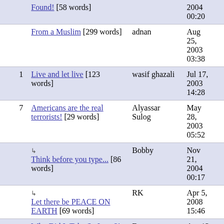| # | Title | Author | Date |
| --- | --- | --- | --- |
|  | Found! [58 words] |  | 2004 00:20 |
|  | From a Muslim [299 words] | adnan | Aug 25, 2003 03:38 |
| 1 | Live and let live [123 words] | wasif ghazali | Jul 17, 2003 14:28 |
| 7 | Americans are the real terrorists! [29 words] | Alyassar Sulog | May 28, 2003 05:52 |
|  | ↳ Think before you type... [86 words] | Bobby | Nov 21, 2004 00:17 |
|  | ↳ Let there be PEACE ON EARTH [69 words] | RK | Apr 5, 2008 15:46 |
|  | Why Did It Take So Long?! [29 words] | Dan | Apr 12, 2003 09:47 |
| 3 | Don't hate muslims..hate the terrorists [130 words] | Yarun N | Mar 25, 2003 17:10 |